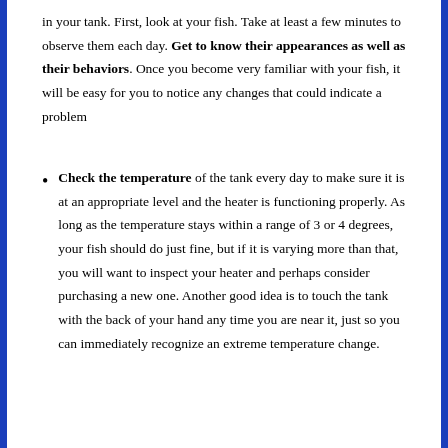in your tank. First, look at your fish. Take at least a few minutes to observe them each day. Get to know their appearances as well as their behaviors. Once you become very familiar with your fish, it will be easy for you to notice any changes that could indicate a problem
Check the temperature of the tank every day to make sure it is at an appropriate level and the heater is functioning properly. As long as the temperature stays within a range of 3 or 4 degrees, your fish should do just fine, but if it is varying more than that, you will want to inspect your heater and perhaps consider purchasing a new one. Another good idea is to touch the tank with the back of your hand any time you are near it, just so you can immediately recognize an extreme temperature change.